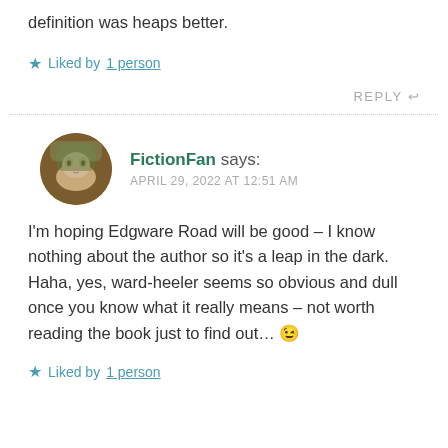definition was heaps better.
Liked by 1 person
REPLY
FictionFan says: APRIL 29, 2022 AT 12:51 AM
I'm hoping Edgware Road will be good – I know nothing about the author so it's a leap in the dark. Haha, yes, ward-heeler seems so obvious and dull once you know what it really means – not worth reading the book just to find out… 😉
Liked by 1 person